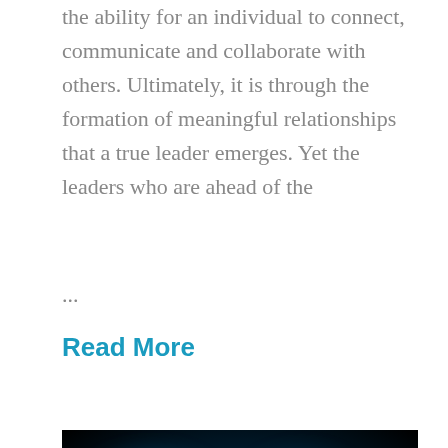the ability for an individual to connect, communicate and collaborate with others. Ultimately, it is through the formation of meaningful relationships that a true leader emerges. Yet the leaders who are ahead of the
...
Read More
[Figure (photo): Close-up photograph of glowing blue chess pieces on a dark background, with a queen piece in focus in the center foreground and blurred pieces in the background]